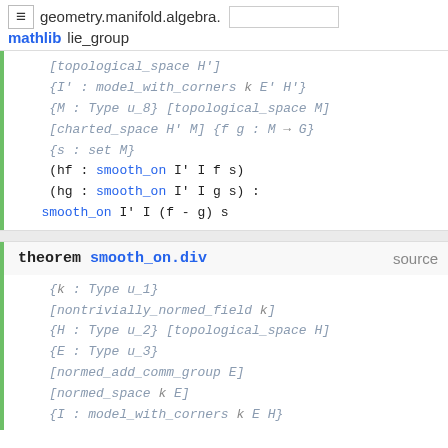geometry.manifold.algebra.lie_group
[topological_space H']
{I' : model_with_corners k E' H'}
{M : Type u_8} [topological_space M]
[charted_space H' M] {f g : M → G}
{s : set M}
(hf : smooth_on I' I f s)
(hg : smooth_on I' I g s) :
smooth_on I' I (f - g) s
theorem smooth_on.div
{k : Type u_1}
[nontrivially_normed_field k]
{H : Type u_2} [topological_space H]
{E : Type u_3}
[normed_add_comm_group E]
[normed_space k E]
{I : model_with_corners k E H}